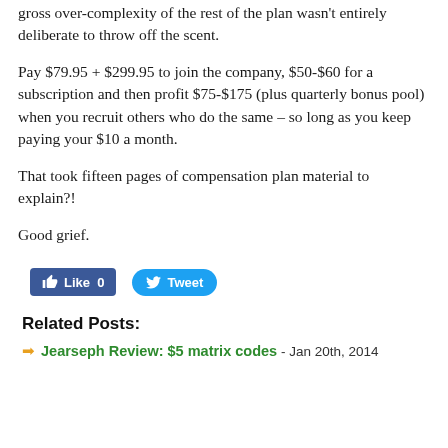gross over-complexity of the rest of the plan wasn't entirely deliberate to throw off the scent.
Pay $79.95 + $299.95 to join the company, $50-$60 for a subscription and then profit $75-$175 (plus quarterly bonus pool) when you recruit others who do the same – so long as you keep paying your $10 a month.
That took fifteen pages of compensation plan material to explain?!
Good grief.
[Figure (other): Social sharing buttons: Facebook Like (0) and Tweet buttons]
Related Posts:
Jearseph Review: $5 matrix codes - Jan 20th, 2014